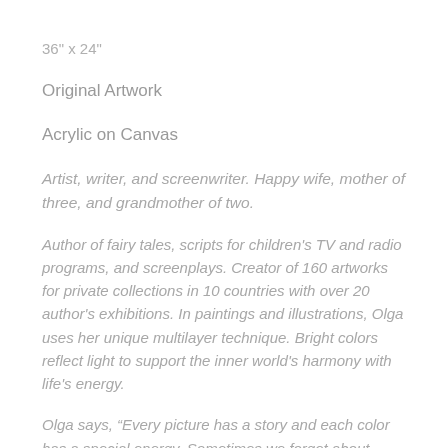36" x 24"
Original Artwork
Acrylic on Canvas
Artist, writer, and screenwriter. Happy wife, mother of three, and grandmother of two.
Author of fairy tales, scripts for children's TV and radio programs, and screenplays. Creator of 160 artworks for private collections in 10 countries with over 20 author's exhibitions. In paintings and illustrations, Olga uses her unique multilayer technique. Bright colors reflect light to support the inner world's harmony with life's energy.
Olga says, “Every picture has a story and each color has a special energy. Sometimes we forget about “What” colors we have and “Why” we have them in our